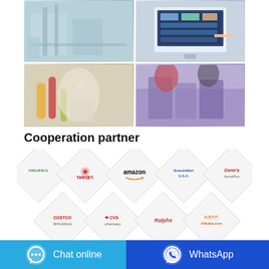[Figure (photo): Four-panel photo grid showing: factory/industrial facility interior, person using a computer touchscreen, lab technician examining samples, workers packing products on a production line]
Cooperation partner
[Figure (infographic): Diamond-shaped logo tiles arranged in two rows showing cooperation partners: Shopko, Target, Amazon, BrandsMart USA, Conn's HomePlus (top row); Costco, CVS pharmacy, Ralphs, Alibaba.com (bottom row)]
Chat online
WhatsApp